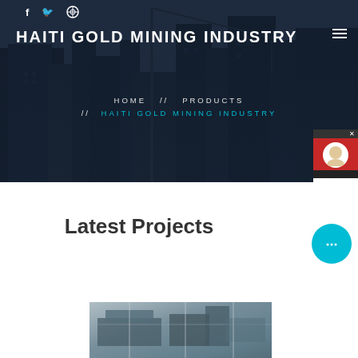[Figure (screenshot): Hero banner section with dark overlay over construction/building background. Shows social media icons (Facebook, Twitter, Dribbble) at top, site title 'HAITI GOLD MINING INDUSTRY', hamburger menu icon, and breadcrumb navigation HOME // PRODUCTS // HAITI GOLD MINING INDUSTRY. Also shows a red Chat Now widget on right side.]
HAITI GOLD MINING INDUSTRY
HOME  //  PRODUCTS  //  HAITI GOLD MINING INDUSTRY
Latest Projects
[Figure (photo): Partial photo of industrial/mining equipment or construction machinery, bottom portion of page.]